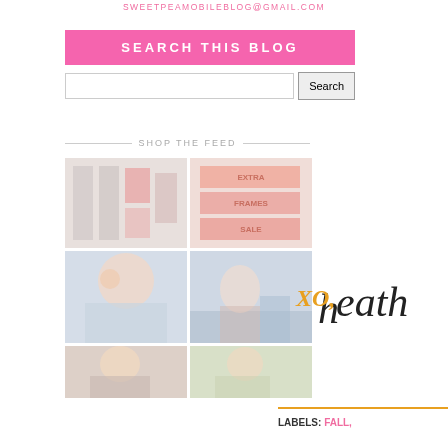SWEETPEAMOBILEBLOG@GMAIL.COM
SEARCH THIS BLOG
[Figure (screenshot): Search input field with Search button]
SHOP THE FEED
[Figure (photo): Grid of Instagram-style feed photos showing clothing and lifestyle images]
[Figure (illustration): XO, heath signature in cursive pink and orange font]
LABELS: FALL,